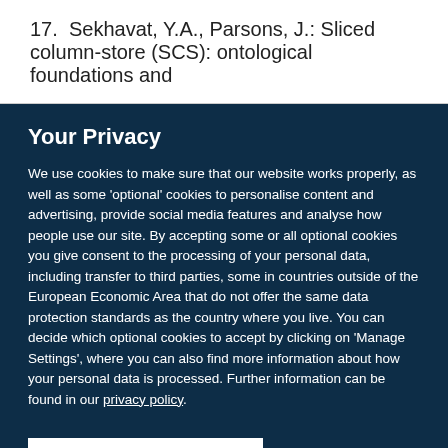17. Sekhavat, Y.A., Parsons, J.: Sliced column-store (SCS): ontological foundations and
Your Privacy
We use cookies to make sure that our website works properly, as well as some 'optional' cookies to personalise content and advertising, provide social media features and analyse how people use our site. By accepting some or all optional cookies you give consent to the processing of your personal data, including transfer to third parties, some in countries outside of the European Economic Area that do not offer the same data protection standards as the country where you live. You can decide which optional cookies to accept by clicking on 'Manage Settings', where you can also find more information about how your personal data is processed. Further information can be found in our privacy policy.
Accept all cookies
Manage preferences